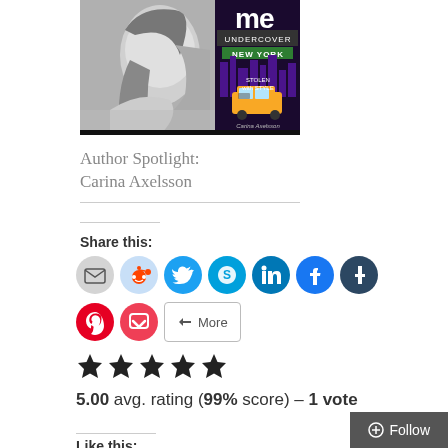[Figure (photo): Photo of a woman smiling in black and white, overlapping with a book cover for 'Me Undercover New York: Stolen with Style' by Carina Axelsson]
Author Spotlight: Carina Axelsson
Share this:
[Figure (other): Row of social media share icon buttons: email, Reddit, Twitter, Skype, LinkedIn, Facebook, Tumblr, Pinterest, Pocket, and More]
[Figure (other): Five black star rating icons]
5.00 avg. rating (99% score) – 1 vote
Like this: